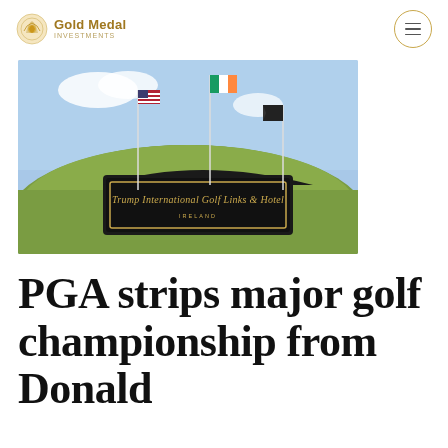Gold Medal Investments
[Figure (photo): Photo of Trump International Golf Links & Hotel Ireland sign on a grass mound with three flags (American, Irish, and a third flag) against a blue sky]
PGA strips major golf championship from Donald